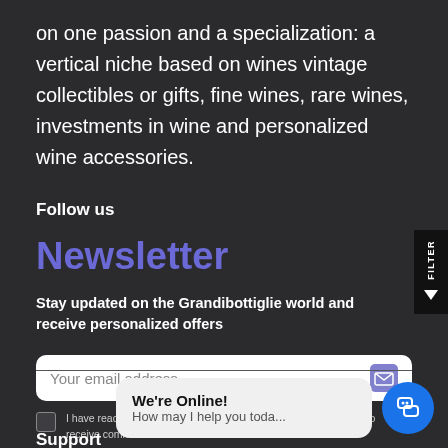on one passion and a specialization: a vertical niche based on wines vintage collectibles or gifts, fine wines, rare wines, investments in wine and personalized wine accessories.
Follow us
Newsletter
Stay updated on the Grandibottiglie world and receive personalized offers
Your email address
I have read and accept the Privacy Policy and I give my consent to receive commercial communications.
[Figure (screenshot): Chat widget showing 'We're Online! How may I help you toda...' with a blue chat button]
Support